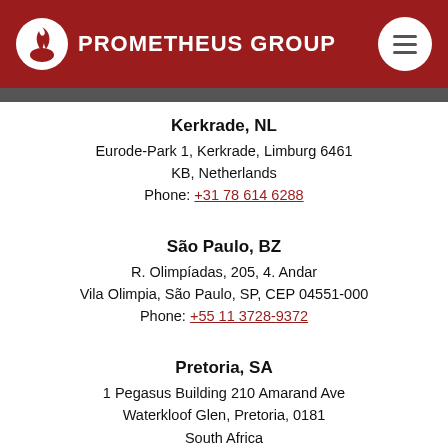Prometheus Group
Kerkrade, NL
Eurode-Park 1, Kerkrade, Limburg 6461 KB, Netherlands
Phone: +31 78 614 6288
São Paulo, BZ
R. Olimpíadas, 205, 4. Andar
Vila Olimpia, São Paulo, SP, CEP 04551-000
Phone: +55 11 3728-9372
Pretoria, SA
1 Pegasus Building 210 Amarand Ave
Waterkloof Glen, Pretoria, 0181
South Africa
Phone: +27 12 003 2916
Bangalore, IN (North)